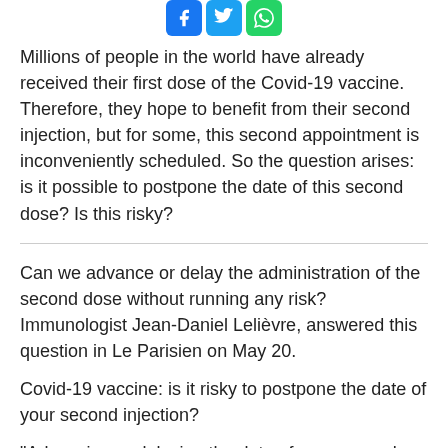[Figure (other): Social media sharing icons: Facebook (blue), Twitter (light blue), WhatsApp (green)]
Millions of people in the world have already received their first dose of the Covid-19 vaccine. Therefore, they hope to benefit from their second injection, but for some, this second appointment is inconveniently scheduled. So the question arises: is it possible to postpone the date of this second dose? Is this risky?
Can we advance or delay the administration of the second dose without running any risk? Immunologist Jean-Daniel Lelièvre, answered this question in Le Parisien on May 20.
Covid-19 vaccine: is it risky to postpone the date of your second injection?
"Advancing or delaying the date of your second dose by a few days does not pose any health risk," said the immunologist. But he pointed out that a certain gap